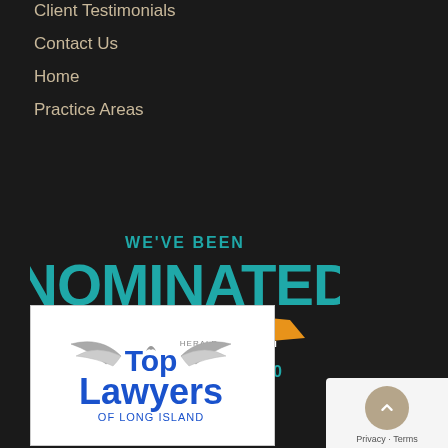Client Testimonials
Contact Us
Home
Practice Areas
[Figure (logo): We've Been Nominated - Bethpage Federal Credit Union - Bethpage Best of L.I. 2020 badge with teal text and orange ribbon banner]
[Figure (logo): Herald Top Lawyers of Long Island logo with blue text and silver wing graphic on white background]